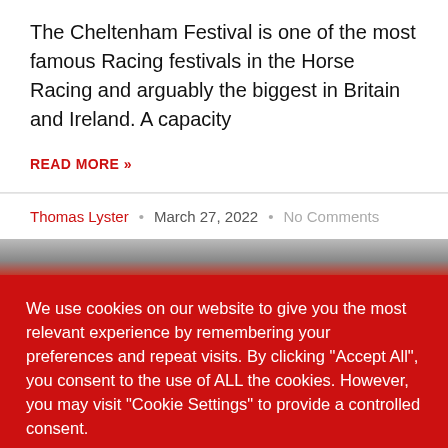The Cheltenham Festival is one of the most famous Racing festivals in the Horse Racing and arguably the biggest in Britain and Ireland. A capacity
READ MORE »
Thomas Lyster · March 27, 2022 · No Comments
[Figure (photo): Partial image strip visible at the transition between article section and cookie banner]
We use cookies on our website to give you the most relevant experience by remembering your preferences and repeat visits. By clicking "Accept All", you consent to the use of ALL the cookies. However, you may visit "Cookie Settings" to provide a controlled consent.
Cookie Settings   Accept All